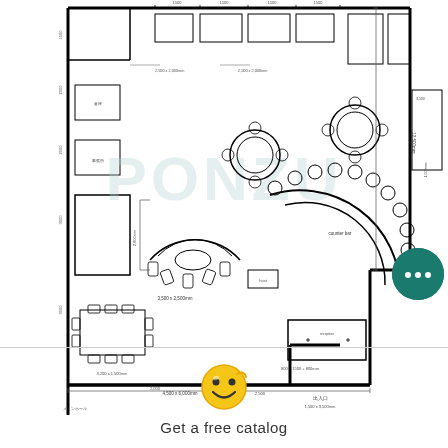[Figure (engineering-diagram): Architectural floor plan / layout drawing of a commercial space (likely a restaurant or cafe) showing furniture arrangement including circular booth seating, round tables, rectangular tables, chairs, and various room elements. The plan includes dimension annotations in what appears to be Japanese text, measurement lines, and a watermark reading 'PONZU'. The layout shows multiple seating areas, a curved reception or bar counter, and various room partitions. Bold black lines indicate walls and structural elements.]
[Figure (other): Teal/dark green circular chat bubble icon with three white dots in the center, representing a customer service or live chat button overlay on the page.]
Get a free catalog